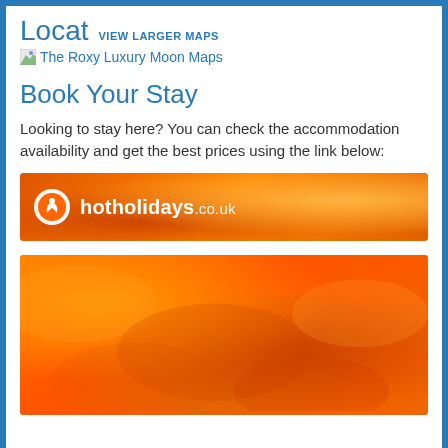Locat VIEW LARGER MAPS
[Figure (other): Broken image placeholder with text 'The Roxy Luxury Moon Maps']
Book Your Stay
Looking to stay here? You can check the accommodation availability and get the best prices using the link below:
[Figure (other): hotholidays.co.uk orange banner advertisement with logo]
[Figure (other): Orange textured banner image at bottom of page]